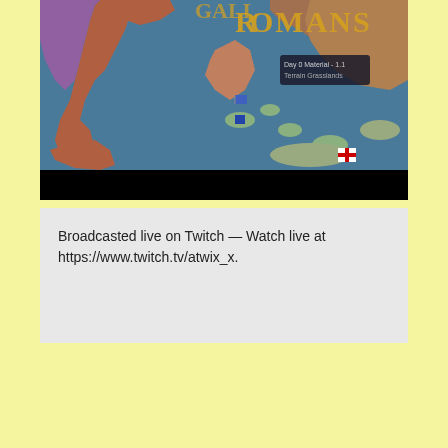[Figure (screenshot): Screenshot of a strategy game map (likely Europa Universalis or similar) showing the Mediterranean region with the title 'ROMANS' visible at the top right. The map shows territories in various colors including purple, brown, and green tones. Game UI elements including flags and a tooltip are visible. Below the map is a black bar.]
Broadcasted live on Twitch — Watch live at https://www.twitch.tv/atwix_x.